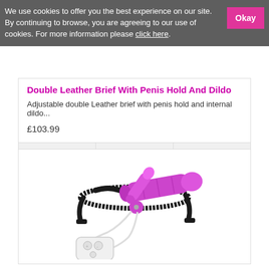We use cookies to offer you the best experience on our site. By continuing to browse, you are agreeing to our use of cookies. For more information please click here.
Okay
Double Leather Brief With Penis Hold And Dildo
Adjustable double Leather brief with penis hold and internal dildo...
£103.99
[Figure (photo): Product photo showing a purple/pink strap-on harness with a dildo and white remote control with cord]